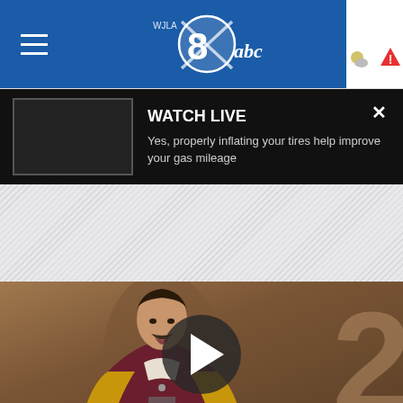[Figure (screenshot): Navigation bar with hamburger menu, WJLA abc8 logo, temperature 77° and Weather label with warning icon]
[Figure (screenshot): Watch Live banner on black background with video thumbnail placeholder and close button X. Text: WATCH LIVE / Yes, properly inflating your tires help improve your gas mileage]
[Figure (photo): Gray hatched advertisement area]
[Figure (photo): Video thumbnail showing a man in a maroon and yellow varsity jacket speaking at a podium, with a large number 2 in the background and a play button overlay]